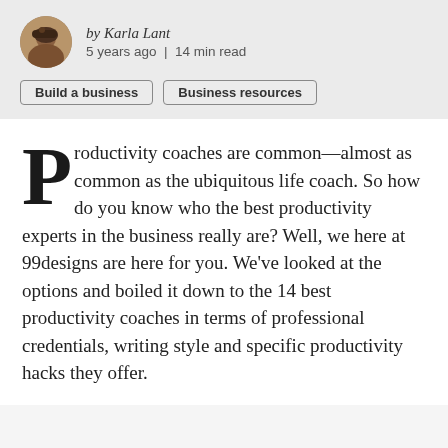by Karla Lant
5 years ago | 14 min read
Build a business
Business resources
Productivity coaches are common—almost as common as the ubiquitous life coach. So how do you know who the best productivity experts in the business really are? Well, we here at 99designs are here for you. We've looked at the options and boiled it down to the 14 best productivity coaches in terms of professional credentials, writing style and specific productivity hacks they offer.